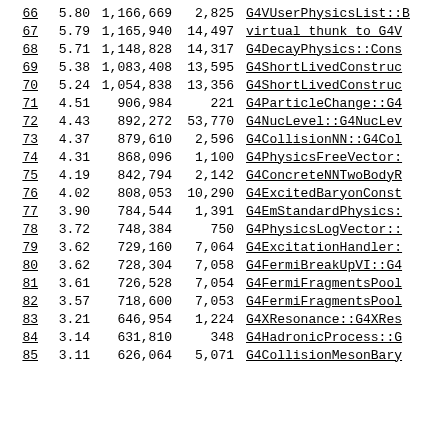| # | % | calls | self | function |
| --- | --- | --- | --- | --- |
| 66 | 5.80 | 1,166,669 | 2,825 | G4VUserPhysicsList::B |
| 67 | 5.79 | 1,165,940 | 14,497 | virtual thunk to G4V |
| 68 | 5.71 | 1,148,828 | 14,317 | G4DecayPhysics::Cons |
| 69 | 5.38 | 1,083,408 | 13,595 | G4ShortLivedConstruc |
| 70 | 5.24 | 1,054,838 | 13,356 | G4ShortLivedConstruc |
| 71 | 4.51 | 906,984 | 221 | G4ParticleChange::G4 |
| 72 | 4.43 | 892,272 | 53,770 | G4NucLevel::G4NucLev |
| 73 | 4.37 | 879,610 | 2,596 | G4CollisionNN::G4Col |
| 74 | 4.31 | 868,096 | 1,100 | G4PhysicsFreeVector: |
| 75 | 4.19 | 842,794 | 2,142 | G4ConcreteNNTwoBodyR |
| 76 | 4.02 | 808,053 | 10,290 | G4ExcitedBaryonConst |
| 77 | 3.90 | 784,544 | 1,391 | G4EmStandardPhysics: |
| 78 | 3.72 | 748,384 | 750 | G4PhysicsLogVector:: |
| 79 | 3.62 | 729,160 | 7,064 | G4ExcitationHandler: |
| 80 | 3.62 | 728,304 | 7,058 | G4FermiBreakUpVI::G4 |
| 81 | 3.61 | 726,528 | 7,054 | G4FermiFragmentsPool |
| 82 | 3.57 | 718,600 | 7,053 | G4FermiFragmentsPool |
| 83 | 3.21 | 646,954 | 1,224 | G4XResonance::G4XRes |
| 84 | 3.14 | 631,810 | 348 | G4HadronicProcess::G |
| 85 | 3.11 | 626,064 | 5,071 | G4CollisionMesonBary |